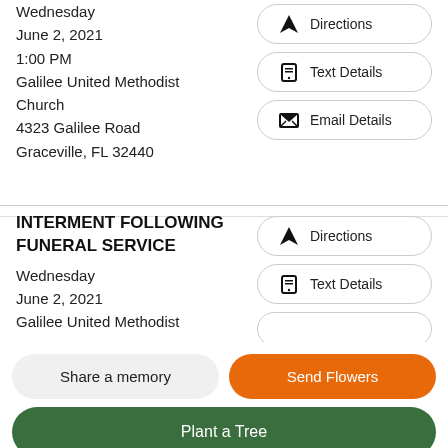Wednesday
June 2, 2021
1:00 PM
Galilee United Methodist Church
4323 Galilee Road
Graceville, FL 32440
INTERMENT FOLLOWING FUNERAL SERVICE
Wednesday
June 2, 2021
Galilee United Methodist
Share a memory
Send Flowers
Plant a Tree